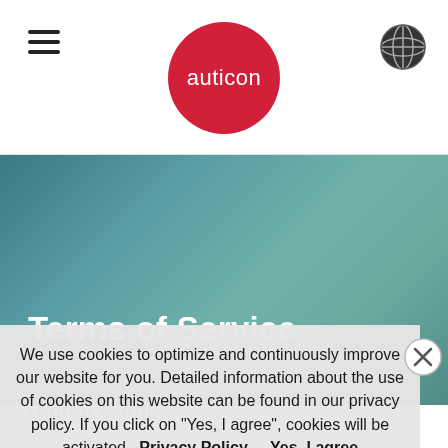[Figure (logo): auticon logo - red circle with white text 'auticon']
[Figure (illustration): Hamburger menu icon (three horizontal lines) in top left]
[Figure (illustration): Globe/language icon in top right]
[Figure (illustration): Teal-green gradient hero background image]
Terms of Service
We use cookies to optimize and continuously improve our website for you. Detailed information about the use of cookies on this website can be found in our privacy policy. If you click on "Yes, I agree", cookies will be activated.
Privacy Policy    Yes, I agree